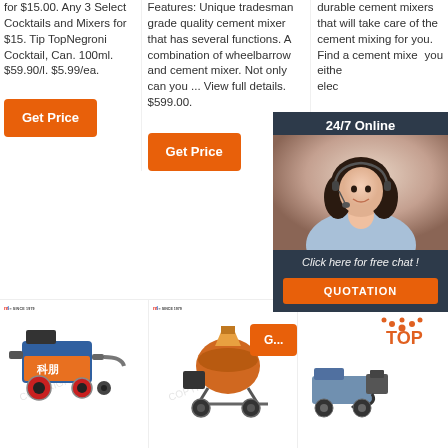for $15.00. Any 3 Select Cocktails and Mixers for $15. Tip TopNegroni Cocktail, Can. 100ml. $59.90/l. $5.99/ea.
Features: Unique tradesman grade quality cement mixer that has several functions. A combination of wheelbarrow and cement mixer. Not only can you ... View full details. $599.00.
durable cement mixers that will take care of the cement mixing for you. Find a cement mixer you either elec
[Figure (photo): 24/7 Online chat widget with photo of woman wearing headset, dark background, orange QUOTATION button]
[Figure (photo): Industrial machine/pump on wheels - blue and orange, Chinese text 科朋, brand logo MLS SINCE 1979]
[Figure (photo): Industrial cement mixer machine, orange/brown colored, brand logo MLS SINCE 1979]
[Figure (photo): Industrial pump/mixer machine on wheels, brand logo MLS SINCE 1979, TOP logo with orange dots]